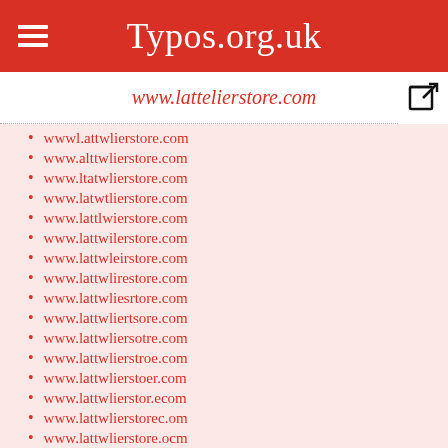Typos.org.uk
www.lattelierstore.com
wwwl.attwlierstore.com
www.alttwlierstore.com
www.ltatwlierstore.com
www.latwtlierstore.com
www.lattlwierstore.com
www.lattwilerstore.com
www.lattwleirstore.com
www.lattwlirestore.com
www.lattwliesrore.com
www.lattwliertsore.com
www.lattwliersotre.com
www.lattwlierstroe.com
www.lattwlierstoer.com
www.lattwlierstor.ecom
www.lattwlierstorec.om
www.lattwlierstore.ocm
www.lattwlierstore.cmo
www.wlattrlierstore.com
wwwl.attrlierstore.com
www.alttrlierstore.com